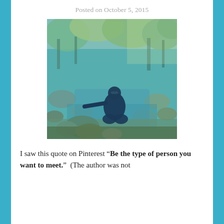Posted on October 5, 2015
[Figure (photo): Person sitting on rocks in a rocky creek or stream surrounded by lush green and yellow-tinted trees. The photo has a teal/blue color filter applied. The person is wearing dark clothes and sunglasses, sitting casually near the water.]
I saw this quote on Pinterest “Be the type of person you want to meet.”  (The author was not